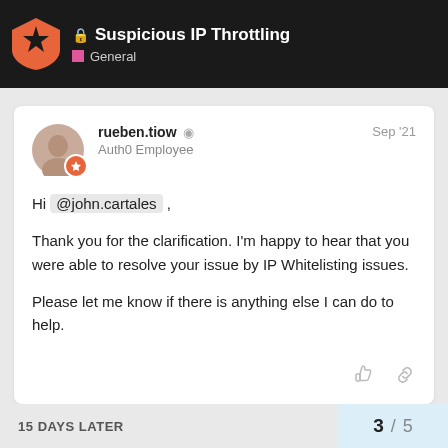🔒 Suspicious IP Throttling — General
rueben.tiow — Auth0 Employee — Sep '21
Hi @john.cartales ,

Thank you for the clarification. I'm happy to hear that you were able to resolve your issue by IP Whitelisting issues.

Please let me know if there is anything else I can do to help.
15 DAYS LATER
3 / 5